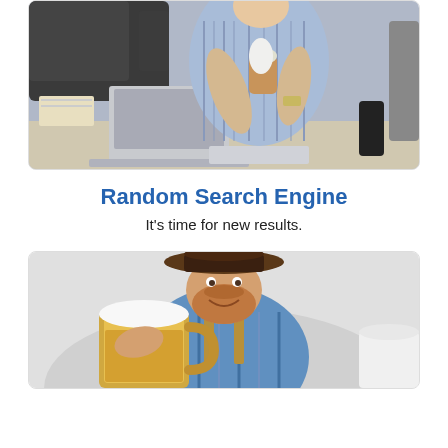[Figure (photo): Woman in blue striped shirt sitting at desk with laptop, holding a coffee cup, books and papers visible, dark couch in background]
Random Search Engine
It's time for new results.
[Figure (photo): Bearded man with a brown hat in Bavarian/Oktoberfest attire holding a large beer mug, smiling, white background]